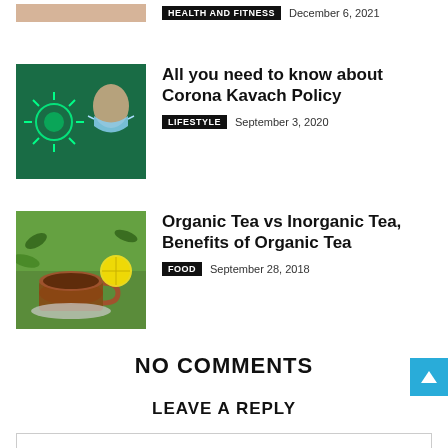[Figure (photo): Partial top image of person, cropped]
HEALTH AND FITNESS   December 6, 2021
[Figure (photo): Person wearing medical mask with coronavirus graphic overlay on green background]
All you need to know about Corona Kavach Policy
LIFESTYLE   September 3, 2020
[Figure (photo): Cup of tea with lemon and green herbs on wooden background]
Organic Tea vs Inorganic Tea, Benefits of Organic Tea
FOOD   September 28, 2018
NO COMMENTS
LEAVE A REPLY
Comment: